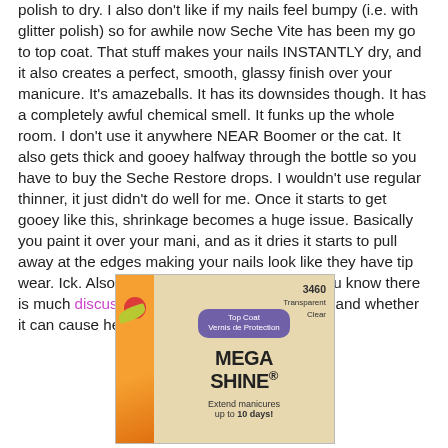polish to dry. I also don't like if my nails feel bumpy (i.e. with glitter polish) so for awhile now Seche Vite has been my go to top coat. That stuff makes your nails INSTANTLY dry, and it also creates a perfect, smooth, glassy finish over your manicure. It's amazeballs. It has its downsides though. It has a completely awful chemical smell. It funks up the whole room. I don't use it anywhere NEAR Boomer or the cat. It also gets thick and gooey halfway through the bottle so you have to buy the Seche Restore drops. I wouldn't use regular thinner, it just didn't do well for me. Once it starts to get gooey like this, shrinkage becomes a huge issue. Basically you paint it over your mani, and as it dries it starts to pull away at the edges making your nails look like they have tip wear. Ick. Also...if you troll YouTube like I do you know there is much discussion about the chemical content and whether it can cause health problems, birth defects, ect.
[Figure (photo): Photo of a Mega Shine Top Coat nail polish product (item 3460, Transparent Clear) with orange and beige packaging, purple badge reading 'Top Coat / Vernis de Protection', and text 'Extend manicures up to 10 days!']